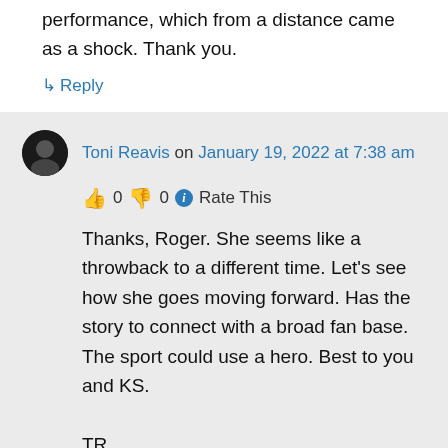performance, which from a distance came as a shock. Thank you.
↳ Reply
Toni Reavis on January 19, 2022 at 7:38 am
👍 0 👎 0 ℹ Rate This
Thanks, Roger. She seems like a throwback to a different time. Let's see how she goes moving forward. Has the story to connect with a broad fan base. The sport could use a hero. Best to you and KS.

TR
↳ Reply